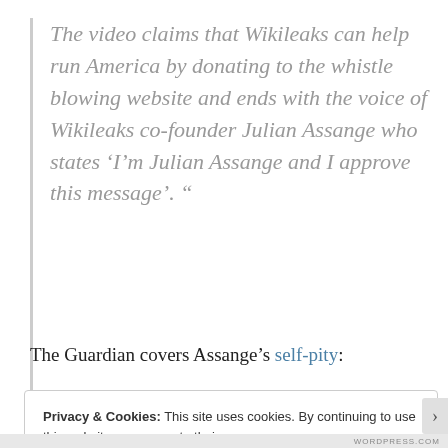The video claims that Wikileaks can help run America by donating to the whistle blowing website and ends with the voice of Wikileaks co-founder Julian Assange who states ‘I’m Julian Assange and I approve this message’. “
The Guardian covers Assange’s self-pity:
Privacy & Cookies: This site uses cookies. By continuing to use this website, you agree to their use.
To find out more, including how to control cookies, see here: Cookie Policy
Close and accept